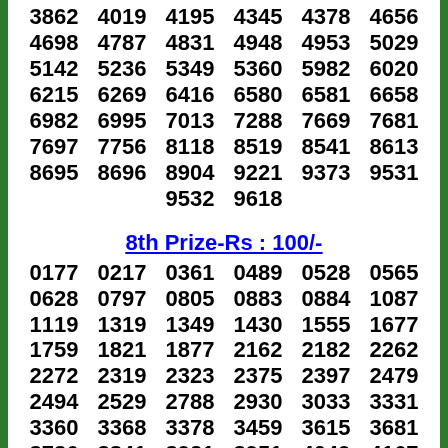3862 4019 4195 4345 4378 4656
4698 4787 4831 4948 4953 5029
5142 5236 5349 5360 5982 6020
6215 6269 6416 6580 6581 6658
6982 6995 7013 7288 7669 7681
7697 7756 8118 8519 8541 8613
8695 8696 8904 9221 9373 9531
9532 9618
8th Prize-Rs : 100/-
0177 0217 0361 0489 0528 0565
0628 0797 0805 0883 0884 1087
1119 1319 1349 1430 1555 1677
1759 1821 1877 2162 2182 2262
2272 2319 2323 2375 2397 2479
2494 2529 2788 2930 3033 3331
3360 3368 3378 3459 3615 3681
3736 3841 3921 3951 4049 4167
4190 4269 4280 4407 4417 4462
4479 4736 4798 4864 4879 4894
4954 4969 5026 5038 5042 5043